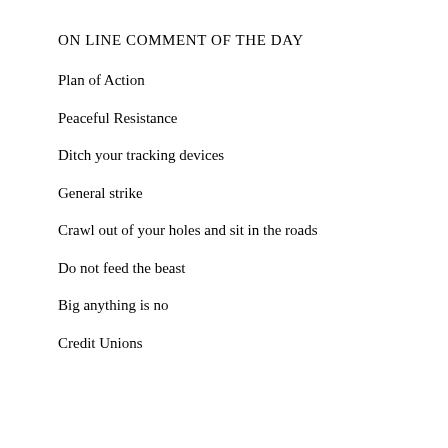ON LINE COMMENT OF THE DAY
Plan of Action
Peaceful Resistance
Ditch your tracking devices
General strike
Crawl out of your holes and sit in the roads
Do not feed the beast
Big anything is no
Credit Unions